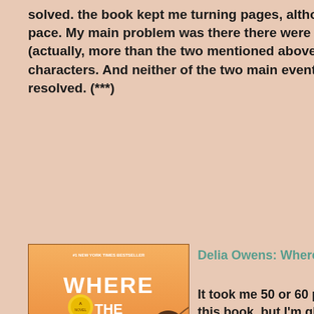solved. the book kept me turning pages, although not at a frantic pace. My main problem was there there were too many mysteries (actually, more than the two mentioned above) and unrelated characters. And neither of the two main events is ever totally resolved. (***)
[Figure (illustration): Book cover of 'Where the Crawdads Sing' by Delia Owens. Orange/sunset toned cover with title text and author name.]
Delia Owens: Where the Crawdads Sing
It took me 50 or 60 pages to really get into this book, but I'm glad I stuck it out. It's about a little girl who grows up all alone in a shack in the wetlands of North Carolina. Beginning at seven years old, Kya, whose entire family has abandoned her, fends for herself and does it quite well. It's a coming-of-age story and also a mystery story of a murder (or not) of a local man. It's a love story or Kya and Tate's lifelong